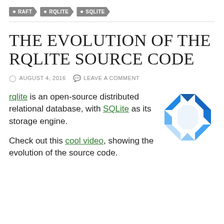RAFT  RQLITE  SQLITE
THE EVOLUTION OF THE RQLITE SOURCE CODE
AUGUST 4, 2016   LEAVE A COMMENT
rqlite is an open-source distributed relational database, with SQLite as its storage engine.

Check out this cool video, showing the evolution of the source code.
[Figure (logo): rqlite logo — a blue geometric octagon shape made of faceted blue segments]